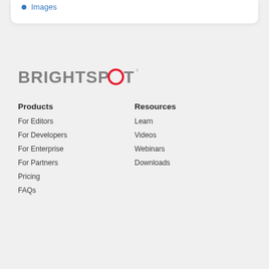Images
[Figure (logo): Brightspot logo with red circle O]
Products
For Editors
For Developers
For Enterprise
For Partners
Pricing
FAQs
Resources
Learn
Videos
Webinars
Downloads